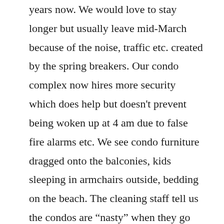years now. We would love to stay longer but usually leave mid-March because of the noise, traffic etc. created by the spring breakers. Our condo complex now hires more security which does help but doesn't prevent being woken up at 4 am due to false fire alarms etc. We see condo furniture dragged onto the balconies, kids sleeping in armchairs outside, bedding on the beach. The cleaning staff tell us the condos are “nasty” when they go into clean. The maintenance people are kept busy fixing doors, plumbing etc. .. a couch got broken in half .. a glass patio table thrown off the balcony. And, we watch these kids trash the beach and not even bother to use the trash cans provided. The kids do not seem to have any respect for property or the beach and they get away with it. We love the area